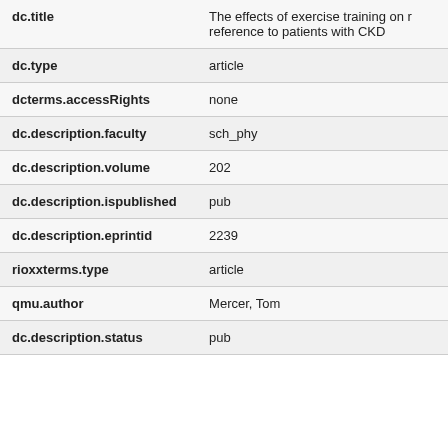| Field | Value |
| --- | --- |
| dc.title | The effects of exercise training on r reference to patients with CKD |
| dc.type | article |
| dcterms.accessRights | none |
| dc.description.faculty | sch_phy |
| dc.description.volume | 202 |
| dc.description.ispublished | pub |
| dc.description.eprintid | 2239 |
| rioxxterms.type | article |
| qmu.author | Mercer, Tom |
| dc.description.status | pub |